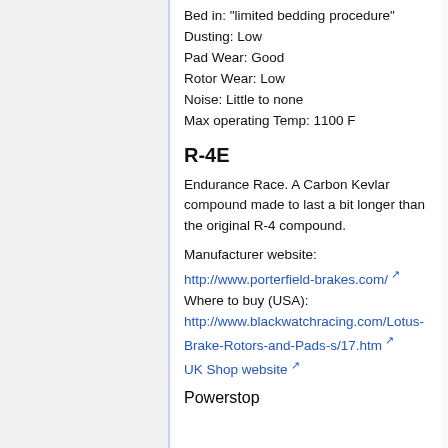Bed in: "limited bedding procedure"
Dusting: Low
Pad Wear: Good
Rotor Wear: Low
Noise: Little to none
Max operating Temp: 1100 F
R-4E
Endurance Race. A Carbon Kevlar compound made to last a bit longer than the original R-4 compound.
Manufacturer website:
http://www.porterfield-brakes.com/
Where to buy (USA):
http://www.blackwatchracing.com/Lotus-Brake-Rotors-and-Pads-s/17.htm
UK Shop website
Powerstop